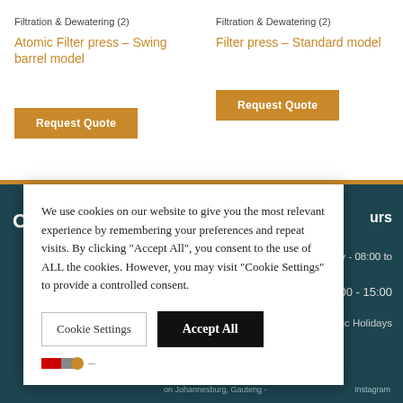Filtration & Dewatering (2)
Atomic Filter press – Swing barrel model
Request Quote
Filtration & Dewatering (2)
Filter press – Standard model
Request Quote
We use cookies on our website to give you the most relevant experience by remembering your preferences and repeat visits. By clicking "Accept All", you consent to the use of ALL the cookies. However, you may visit "Cookie Settings" to provide a controlled consent.
Cookie Settings
Accept All
urs
Thursday - 08:00 to
:00 - 15:00
nd Public Holidays
on Johannesburg, Gauteng -
Instagram